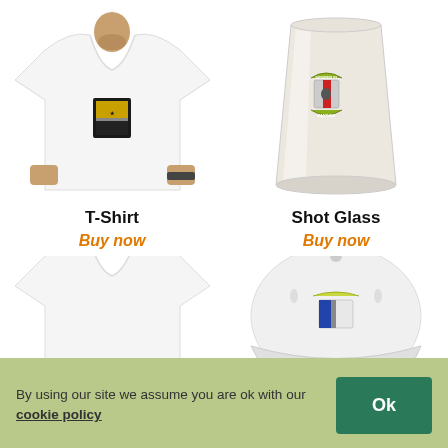[Figure (photo): Man wearing white T-shirt with military/heraldic shield logo on chest]
T-Shirt
Buy now
[Figure (photo): White ceramic shot glass with heraldic shield logo]
Shot Glass
Buy now
[Figure (photo): White T-shirt (bottom, partially visible)]
[Figure (photo): White baseball cap with shield logo (bottom, partially visible)]
By using our site we assume you are ok with our cookie policy